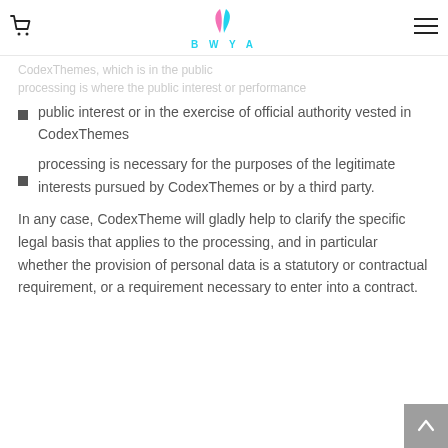BWYA
public interest or in the exercise of official authority vested in CodexThemes
processing is necessary for the purposes of the legitimate interests pursued by CodexThemes or by a third party.
In any case, CodexTheme will gladly help to clarify the specific legal basis that applies to the processing, and in particular whether the provision of personal data is a statutory or contractual requirement, or a requirement necessary to enter into a contract.